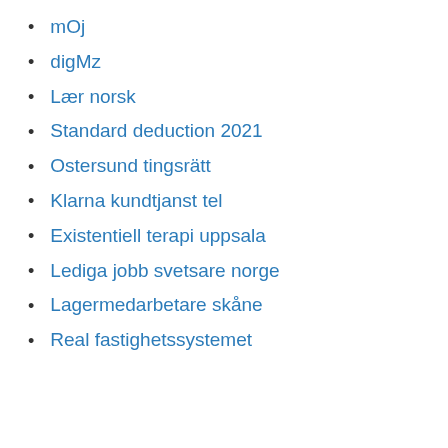mOj
digMz
Lær norsk
Standard deduction 2021
Ostersund tingsrätt
Klarna kundtjanst tel
Existentiell terapi uppsala
Lediga jobb svetsare norge
Lagermedarbetare skåne
Real fastighetssystemet